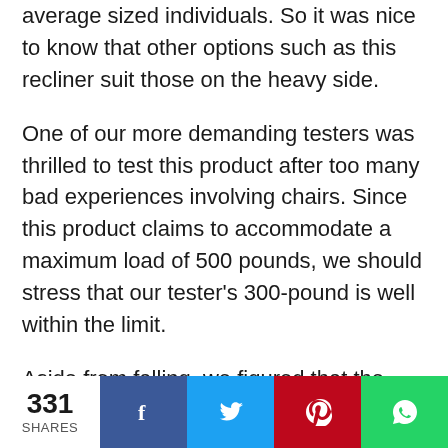average sized individuals. So it was nice to know that other options such as this recliner suit those on the heavy side.
One of our more demanding testers was thrilled to test this product after too many bad experiences involving chairs. Since this product claims to accommodate a maximum load of 500 pounds, we should stress that our tester's 300-pound is well within the limit.
Aside from falling, we figured that the worst thing for a big person like him is rising from a seat that's too low to the ground. Fortunately, our guy didn't have any of that with this chair.
331 SHARES